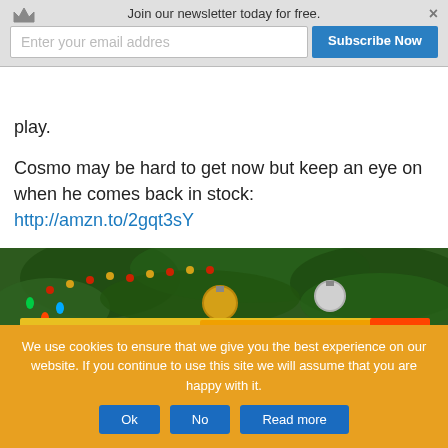[Figure (screenshot): Newsletter subscription banner with crown icon, email input field, Subscribe Now button, and close X button]
play.
Cosmo may be hard to get now but keep an eye on when he comes back in stock: http://amzn.to/2gqt3sY
[Figure (photo): Photo of a Dart Zone AUTO-ADVANCE RAPID-FIRE toy blaster box (up to 80 feet) in front of a Christmas tree with ornaments and lights]
We use cookies to ensure that we give you the best experience on our website. If you continue to use this site we will assume that you are happy with it.
[Figure (screenshot): Cookie consent banner buttons: Ok, No, Read more]